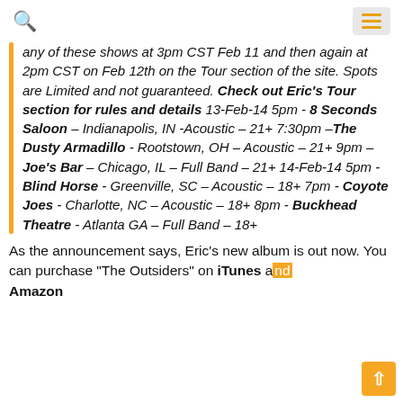Search and hamburger menu icons
any of these shows at 3pm CST Feb 11 and then again at 2pm CST on Feb 12th on the Tour section of the site. Spots are Limited and not guaranteed. Check out Eric's Tour section for rules and details 13-Feb-14 5pm - 8 Seconds Saloon – Indianapolis, IN -Acoustic – 21+ 7:30pm –The Dusty Armadillo - Rootstown, OH – Acoustic – 21+ 9pm – Joe's Bar – Chicago, IL – Full Band – 21+ 14-Feb-14 5pm - Blind Horse - Greenville, SC – Acoustic – 18+ 7pm - Coyote Joes - Charlotte, NC – Acoustic – 18+ 8pm - Buckhead Theatre - Atlanta GA – Full Band – 18+
As the announcement says, Eric's new album is out now. You can purchase "The Outsiders" on iTunes and Amazon